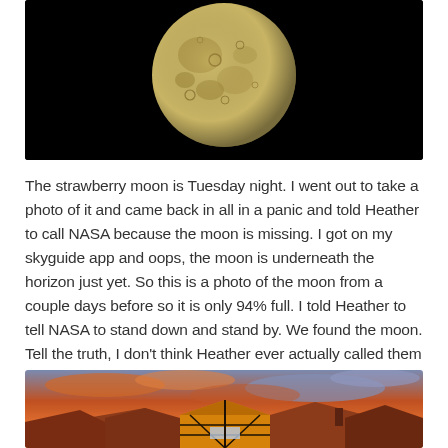[Figure (photo): Close-up photograph of the moon against a black night sky, showing craters and surface details. The moon appears nearly full.]
The strawberry moon is Tuesday night. I went out to take a photo of it and came back in all in a panic and told Heather to call NASA because the moon is missing. I got on my skyguide app and oops, the moon is underneath the horizon just yet. So this is a photo of the moon from a couple days before so it is only 94% full. I told Heather to tell NASA to stand down and stand by. We found the moon. Tell the truth, I don't think Heather ever actually called them but that is okay.
[Figure (photo): Dramatic sunset photo showing rooftops of European-style buildings with colorful red and orange clouds in the sky. A half-timbered building is visible in the foreground.]